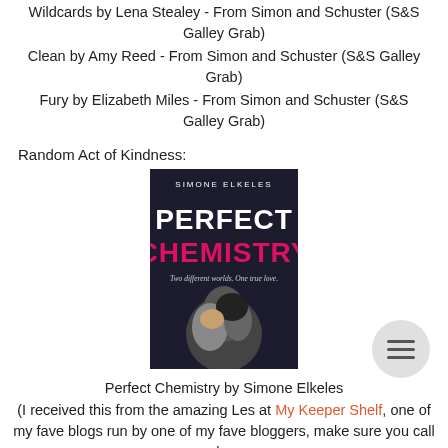Wildcards by Lena Stealey - From Simon and Schuster (S&S Galley Grab)
Clean by Amy Reed - From Simon and Schuster (S&S Galley Grab)
Fury by Elizabeth Miles - From Simon and Schuster (S&S Galley Grab)
Random Act of Kindness:
[Figure (photo): Book cover of Perfect Chemistry by Simone Elkeles, showing two people in an embrace. Title text reads PERFECT CHEMISTRY in large white and pink letters. Subtitle reads Two different worlds. One true love. Author name SIMONE ELKELES at top.]
Perfect Chemistry by Simone Elkeles
(I received this from the amazing Les at My Keeper Shelf, one of my fave blogs run by one of my fave bloggers, make sure you call by